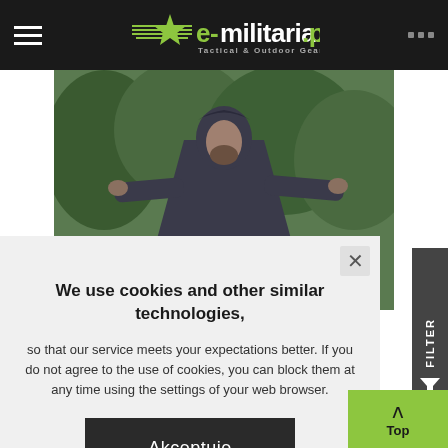e-militaria.pl Tactical & Outdoor Gear
[Figure (photo): Person wearing a dark grey military rain poncho/cloak with hood, arms spread wide, standing in front of green foliage]
We use cookies and other similar technologies,
so that our service meets your expectations better. If you do not agree to the use of cookies, you can block them at any time using the settings of your web browser.
Akceptuje
50.00
Top